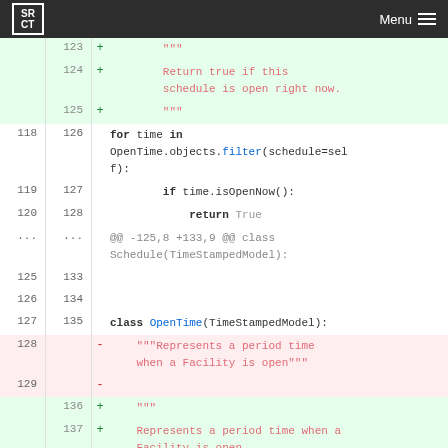SRCT Menu
[Figure (screenshot): Code diff view showing changes to a Python file with line numbers, added lines (green background) and removed lines (red background). The diff shows modifications to a Schedule class and OpenTime class including docstring changes.]